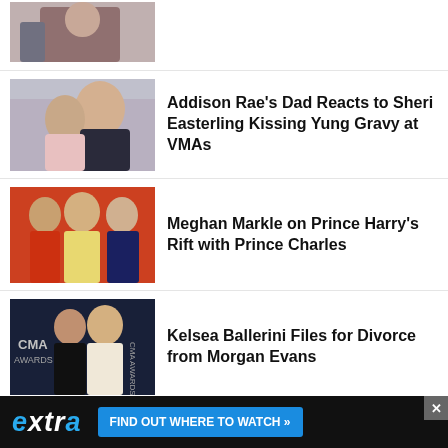[Figure (photo): Partial view of a couple photo at top of page]
Addison Rae's Dad Reacts to Sheri Easterling Kissing Yung Gravy at VMAs
[Figure (photo): Photo of two people kissing at an event]
Meghan Markle on Prince Harry's Rift with Prince Charles
[Figure (photo): Photo of Meghan Markle, Prince Charles in red military uniform, and Prince Harry]
Kelsea Ballerini Files for Divorce from Morgan Evans
[Figure (photo): Photo of a couple at CMA Awards backdrop]
Bradley Cooper and Ex Irina Shayk Reunite on Sexy Bahamas Vacation
[Figure (photo): Photo of people on a beach vacation]
[Figure (photo): Extra TV advertisement banner at bottom of page]